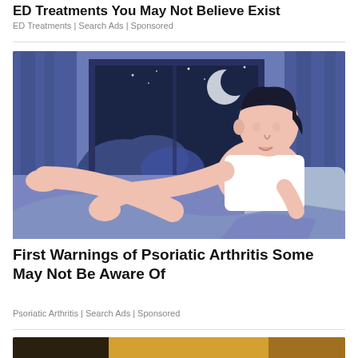ED Treatments You May Not Believe Exist
ED Treatments | Search Ads | Sponsored
[Figure (illustration): Illustration of a man sitting on a bed at night, holding his leg/knee, with a window showing a crescent moon and clouds in the background. Blue and purple tones with curtains.]
First Warnings of Psoriatic Arthritis Some May Not Be Aware Of
Psoriatic Arthritis | Search Ads | Sponsored
[Figure (photo): Partial photo visible at the bottom of the page, warm yellow tones.]